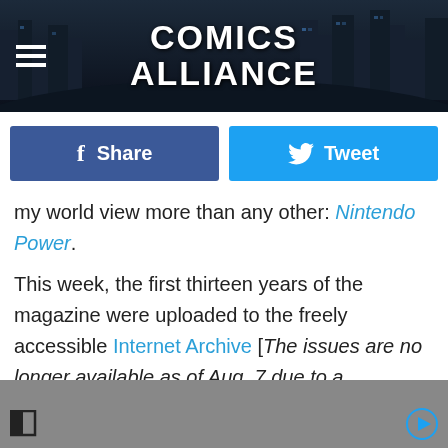COMICS ALLIANCE
[Figure (other): Facebook Share button and Twitter Tweet button side by side]
my world view more than any other: Nintendo Power.
This week, the first thirteen years of the magazine were uploaded to the freely accessible Internet Archive [The issues are no longer available as of Aug. 7 due to a takedown notice served by Nintendo. - Ed.], and looking back through them, I'm pretty sure they're why I still, to this very day, have a completely irrational hatred of the Sega Genesis. It wasn't